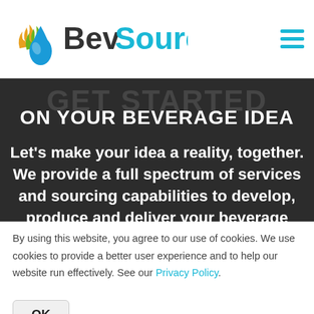[Figure (logo): BevSource logo with flame/water drop icon and text 'BevSource' in dark gray and cyan]
[Figure (other): Hamburger menu icon with three horizontal cyan lines]
GET STARTED ON YOUR BEVERAGE IDEA
Let's make your idea a reality, together. We provide a full spectrum of services and sourcing capabilities to develop, produce and deliver your beverage
By using this website, you agree to our use of cookies. We use cookies to provide a better user experience and to help our website run effectively. See our Privacy Policy.
OK